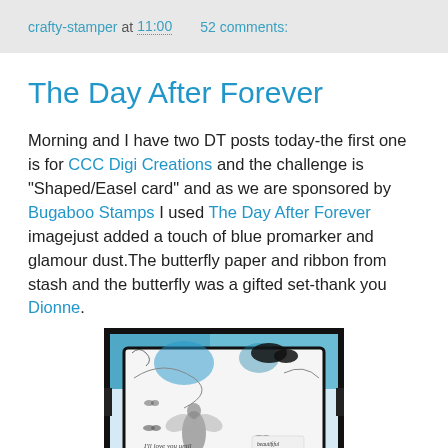crafty-stamper at 11:00   52 comments:
The Day After Forever
Morning and I have two DT posts today-the first one is for CCC Digi Creations and the challenge is "Shaped/Easel card" and as we are sponsored by Bugaboo Stamps I used The Day After Forever imagejust added a touch of blue promarker and glamour dust.The butterfly paper and ribbon from stash and the butterfly was a gifted set-thank you Dionne.
[Figure (photo): A handmade shaped/easel card featuring a fairy silhouette, butterflies, blue and white decorative paper, and text reading 'I'll love you until...' with black borders and ribbon embellishments.]